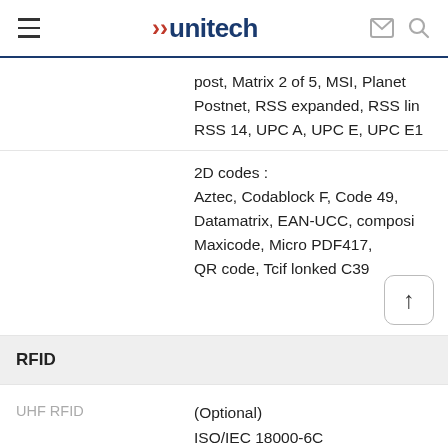unitech
post, Matrix 2 of 5, MSI, Planet Postnet, RSS expanded, RSS lin RSS 14, UPC A, UPC E, UPC E1
2D codes : Aztec, Codablock F, Code 49, Datamatrix, EAN-UCC, composi Maxicode, Micro PDF417, QR code, Tcif lonked C39
RFID
UHF RFID
(Optional)
ISO/IEC 18000-6C
EPCglobal Class 1 Gen 2